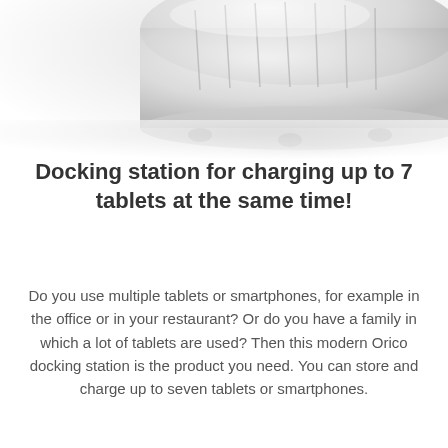[Figure (photo): Partial view of a white docking station device photographed from above/side angle, showing smooth curved surfaces and metal feet against a white background.]
Docking station for charging up to 7 tablets at the same time!
Do you use multiple tablets or smartphones, for example in the office or in your restaurant? Or do you have a family in which a lot of tablets are used? Then this modern Orico docking station is the product you need. You can store and charge up to seven tablets or smartphones.